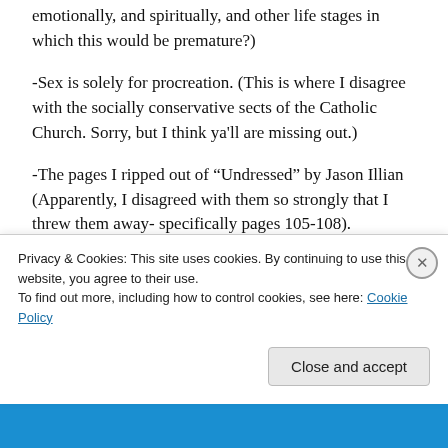emotionally, and spiritually, and other life stages in which this would be premature?)
-Sex is solely for procreation. (This is where I disagree with the socially conservative sects of the Catholic Church. Sorry, but I think ya’ll are missing out.)
-The pages I ripped out of “Undressed” by Jason Illian (Apparently, I disagreed with them so strongly that I threw them away- specifically pages 105-108).
Best:
“Let me teach you something. Those who tell you that
Privacy & Cookies: This site uses cookies. By continuing to use this website, you agree to their use.
To find out more, including how to control cookies, see here: Cookie Policy
Close and accept